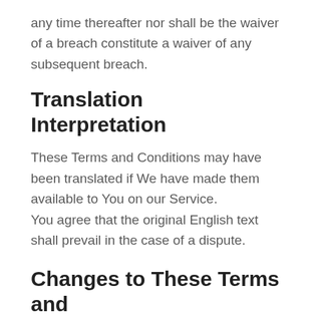any time thereafter nor shall be the waiver of a breach constitute a waiver of any subsequent breach.
Translation Interpretation
These Terms and Conditions may have been translated if We have made them available to You on our Service.
You agree that the original English text shall prevail in the case of a dispute.
Changes to These Terms and Conditions